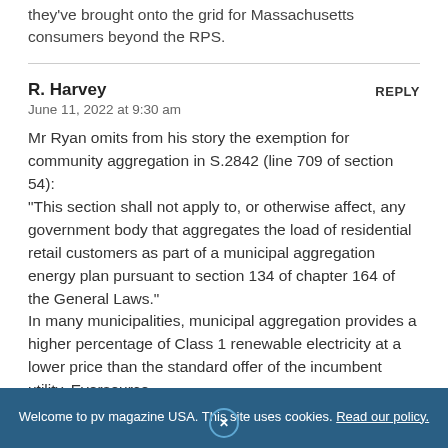they've brought onto the grid for Massachusetts consumers beyond the RPS.
R. Harvey
June 11, 2022 at 9:30 am
Mr Ryan omits from his story the exemption for community aggregation in S.2842 (line 709 of section 54):
"This section shall not apply to, or otherwise affect, any government body that aggregates the load of residential retail customers as part of a municipal aggregation energy plan pursuant to section 134 of chapter 164 of the General Laws."
In many municipalities, municipal aggregation provides a higher percentage of Class 1 renewable electricity at a lower price than the standard offer of the incumbent utility, Eversource.
Thus, despite what the headline says, bill S.2842 would not
Welcome to pv magazine USA. This site uses cookies. Read our policy.